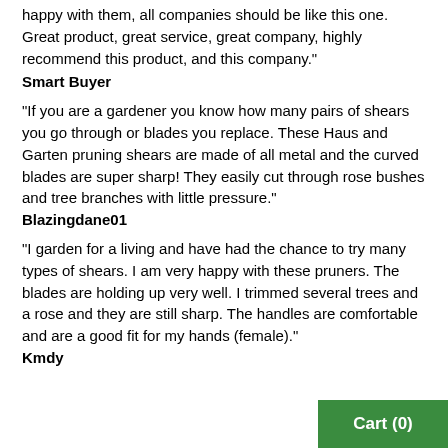happy with them, all companies should be like this one. Great product, great service, great company, highly recommend this product, and this company."
Smart Buyer
"If you are a gardener you know how many pairs of shears you go through or blades you replace. These Haus and Garten pruning shears are made of all metal and the curved blades are super sharp! They easily cut through rose bushes and tree branches with little pressure."
Blazingdane01
"I garden for a living and have had the chance to try many types of shears. I am very happy with these pruners. The blades are holding up very well. I trimmed several trees and a rose and they are still sharp. The handles are comfortable and are a good fit for my hands (female)."
Kmdy
[Figure (other): Green Cart (0) button in bottom right corner]